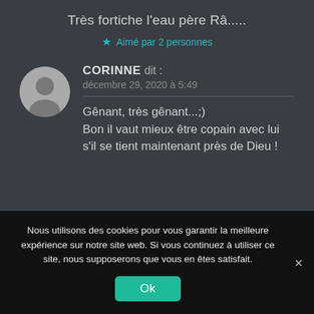Très fortiche l'eau père Râ.....
★ Aimé par 2 personnes
CORINNE dit :
décembre 29, 2020 à 5:49
Gênant, très gênant...;)
Bon il vaut mieux être copain avec lui s'il se tient maintenant près de Dieu !
Nous utilisons des cookies pour vous garantir la meilleure expérience sur notre site web. Si vous continuez à utiliser ce site, nous supposerons que vous en êtes satisfait.
Ok